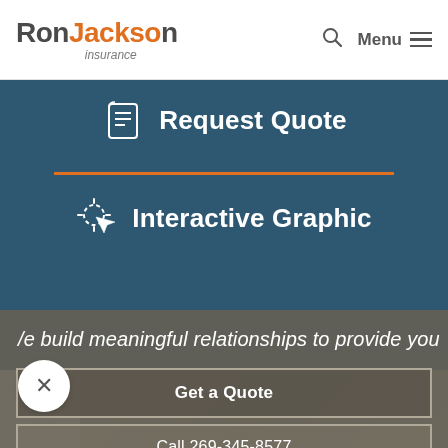[Figure (logo): Ron Jackson Insurance logo with orange 'Jackson' text]
Request Quote
Interactive Graphic
[Figure (photo): Background photo of a person, partially visible]
We build meaningful relationships to provide you
Get a Quote
Call 269-345-8577